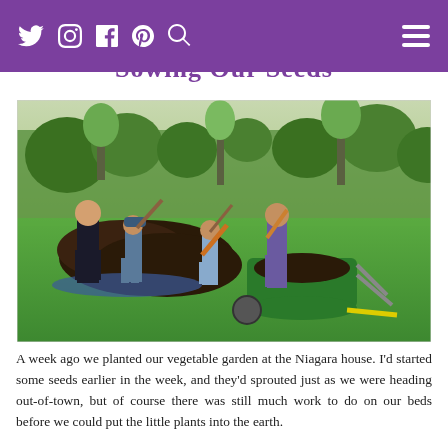Sowing Our Seeds
[Figure (photo): Four people (one adult woman, one child with cap, one child, one adult woman) shoveling and moving dark soil/mulch with a green wheelbarrow on a green lawn, surrounded by trees in the background.]
A week ago we planted our vegetable garden at the Niagara house. I'd started some seeds earlier in the week, and they'd sprouted just as we were heading out-of-town, but of course there was still much work to do on our beds before we could put the little plants into the earth.